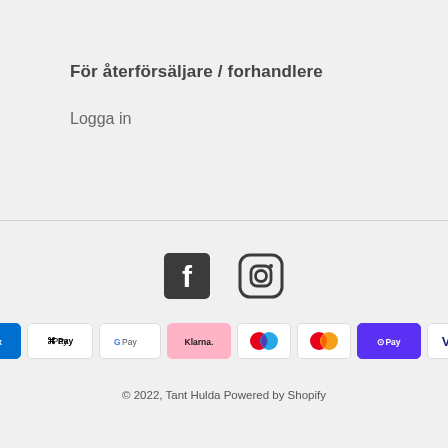För återförsäljare / forhandlere
Logga in
[Figure (logo): Facebook and Instagram social media icons]
[Figure (logo): Payment method icons: American Express, Apple Pay, Google Pay, Klarna, Maestro, Mastercard, Shop Pay, Visa]
© 2022, Tant Hulda Powered by Shopify